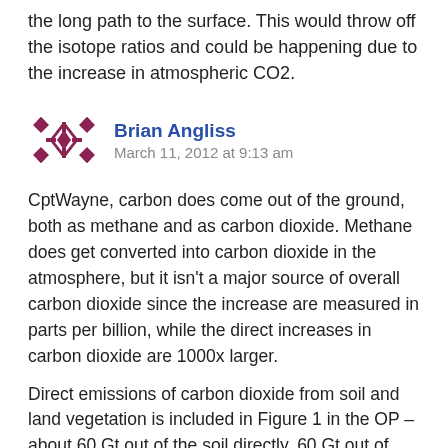the long path to the surface. This would throw off the isotope ratios and could be happening due to the increase in atmospheric CO2.
Brian Angliss
March 11, 2012 at 9:13 am
CptWayne, carbon does come out of the ground, both as methane and as carbon dioxide. Methane does get converted into carbon dioxide in the atmosphere, but it isn't a major source of overall carbon dioxide since the increase are measured in parts per billion, while the direct increases in carbon dioxide are 1000x larger.
Direct emissions of carbon dioxide from soil and land vegetation is included in Figure 1 in the OP – about 60 Gt out of the soil directly, 60 Gt out of vegetation, and about 121.3 absorbed by both vegetation and soils. There's also a net flux into forests of 0.5 Gt and a net flux into the